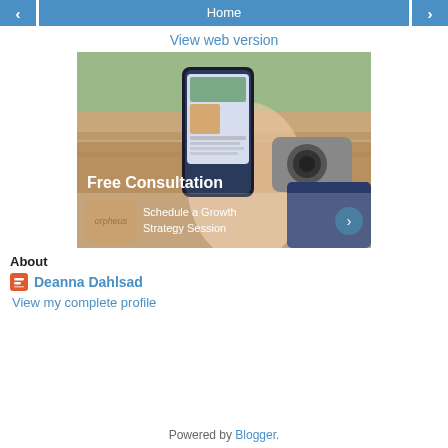< Home >
View web version
[Figure (photo): Advertisement showing a person holding a smartphone with an app, next to a camera on a wooden surface. Text reads 'Free Consultation' and 'Schedule a Growth Strategy Session' with an orpheus logo.]
About
Deanna Dahlsad
View my complete profile
Powered by Blogger.